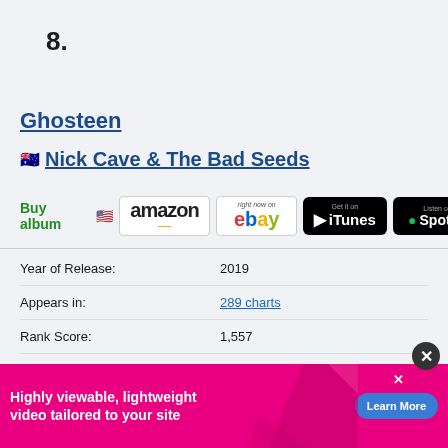8.
Ghosteen
🇦🇺 Nick Cave & The Bad Seeds
Buy album 🇺🇸 [Amazon] [eBay] [iTunes] [Spotify]
| Year of Release: | 2019 |
| Appears in: | 289 charts |
| Rank Score: | 1,557 |
[Figure (infographic): Advertisement banner: 'Highly viewable, lightweight video tailored to your site' with Learn More button]
Highly viewable, lightweight video tailored to your site